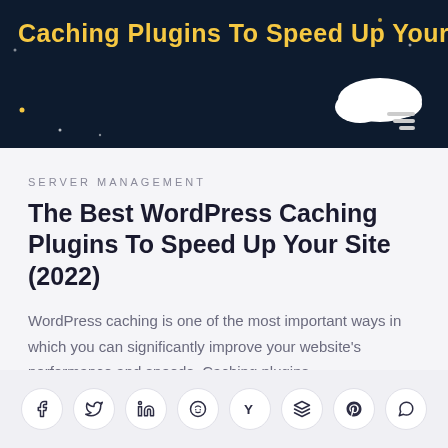[Figure (illustration): Dark navy blue hero banner with yellow/gold text reading 'Caching Plugins To Speed Up Your Site', decorative stars, and a white cloud with speed lines icon in the top right]
SERVER MANAGEMENT
The Best WordPress Caching Plugins To Speed Up Your Site (2022)
WordPress caching is one of the most important ways in which you can significantly improve your website's performance and speeds. Caching plugins…
August 4, 2022  ·  7 Min Read
[Figure (other): Row of 8 social media sharing icon buttons: Facebook, Twitter, LinkedIn, Reddit, Hacker News (Y), Buffer, Pinterest, WhatsApp]